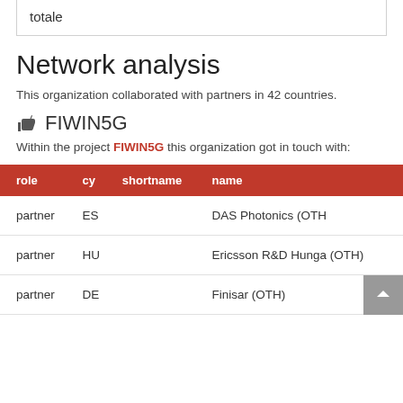| totale |
Network analysis
This organization collaborated with partners in 42 countries.
FIWIN5G
Within the project FIWIN5G this organization got in touch with:
| role | cy | shortname | name |
| --- | --- | --- | --- |
| partner | ES |  | DAS Photonics (OTH |
| partner | HU |  | Ericsson R&D Hungary (OTH) |
| partner | DE |  | Finisar (OTH) |